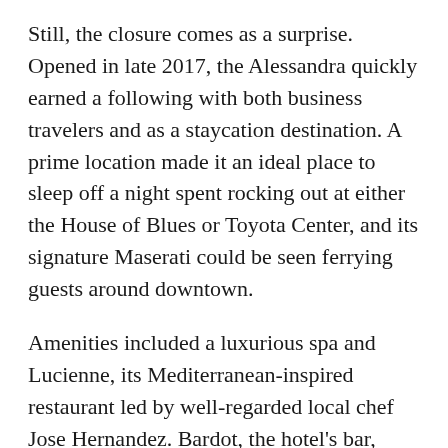Still, the closure comes as a surprise. Opened in late 2017, the Alessandra quickly earned a following with both business travelers and as a staycation destination. A prime location made it an ideal place to sleep off a night spent rocking out at either the House of Blues or Toyota Center, and its signature Maserati could be seen ferrying guests around downtown.
Amenities included a luxurious spa and Lucienne, its Mediterranean-inspired restaurant led by well-regarded local chef Jose Hernandez. Bardot, the hotel's bar, took its inspiration from turn-of-the-century bars in London.
In its short history, the Alessandra earned a number of awards, including recognition from Condé Nast, TripAdvisor, and U.S. News & World Report. The hotel's dramatic entryway and second-floor lobby contributed to it